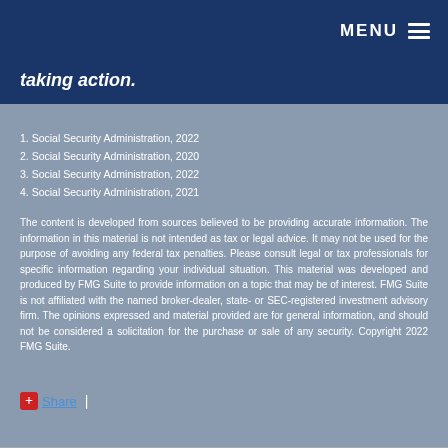MENU
taking action.
1. Social Security Administration, 2022
2. Social Security Administration, 2020
3. Social Security Administration, 2022
4. Social Security Administration, 2021
The content is developed from sources believed to be providing accurate information. The information in this material is not intended as tax or legal advice. It may not be used for the purpose of avoiding any federal tax penalties. Please consult legal or tax professionals for specific information regarding your individual situation. This material was developed and produced by FMG Suite to provide information on a topic that may be of interest. FMG Suite is not affiliated with the named broker-dealer, state- or SEC-registered investment advisory firm. The opinions expressed and material provided are for general information, and should not be considered a solicitation for the purchase or sale of any security. Copyright 2022 FMG Suite.